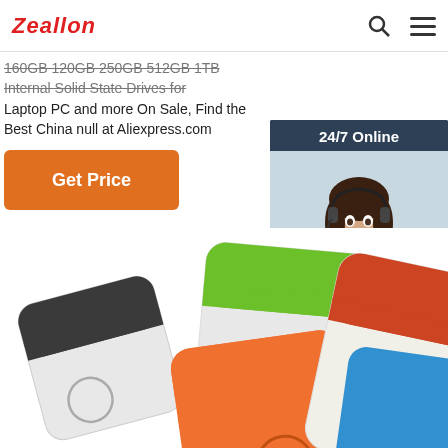Zeallon
160GB 120GB 250GB 512GB 1TB Internal Solid State Drives for Laptop PC and more On Sale, Find the Best China null at Aliexpress.com
Get Price
[Figure (photo): Chat widget showing 24/7 Online support agent (woman with headset), with text 'Click here for free chat!' and a QUOTATION button]
[Figure (photo): Colorful product boxes/cubes in various colors (black, green, orange, blue, red, beige) arranged in a scattered layout on white background]